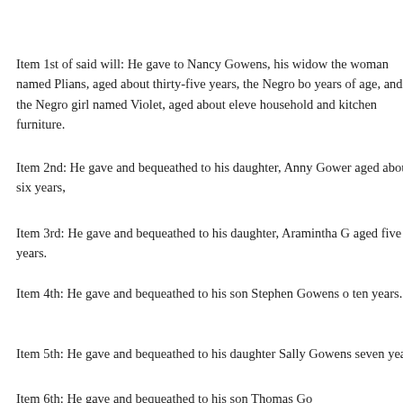Item 1st of said will: He gave to Nancy Gowens, his widow the woman named Plians, aged about thirty-five years, the Negro bo years of age, and the Negro girl named Violet, aged about eleven household and kitchen furniture.
Item 2nd: He gave and bequeathed to his daughter, Anny Gower aged about six years,
Item 3rd: He gave and bequeathed to his daughter, Aramintha G aged five years.
Item 4th: He gave and bequeathed to his son Stephen Gowens o ten years.
Item 5th: He gave and bequeathed to his daughter Sally Gowens seven years.
Item 6th: He gave and bequeathed to his son Thomas Go...